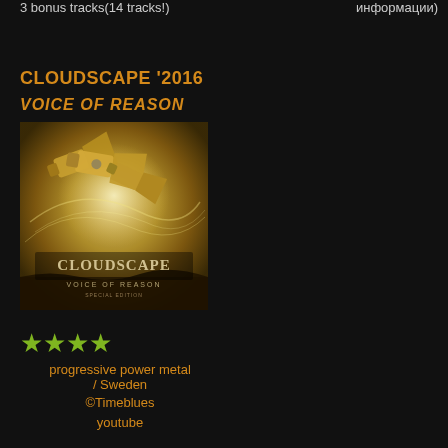3 bonus tracks(14 tracks!)
информации)
CLOUDSCAPE '2016
VOICE OF REASON
[Figure (photo): Album cover for Cloudscape - Voice of Reason, showing megaphones/speakers with swirling golden light and the band name Cloudscape and subtitle Voice of Reason]
★★★★
progressive power metal / Sweden
©Timeblues
youtube